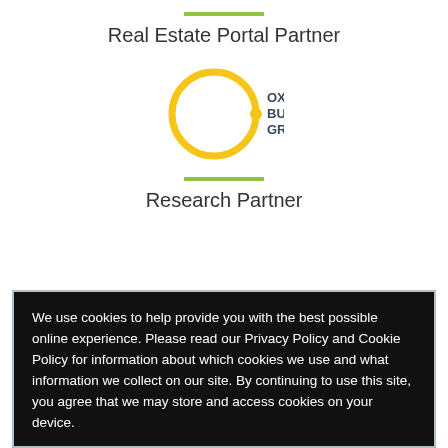Real Estate Portal Partner
[Figure (logo): Oxford Business Group logo: a gold/yellow circle outline with a small gold filled circle at the right, next to the text OXFORD BUSINESS GROUP in dark gray bold letters stacked on three lines.]
Research Partner
We use cookies to help provide you with the best possible online experience. Please read our Privacy Policy and Cookie Policy for information about which cookies we use and what information we collect on our site. By continuing to use this site, you agree that we may store and access cookies on your device.
I AGREE